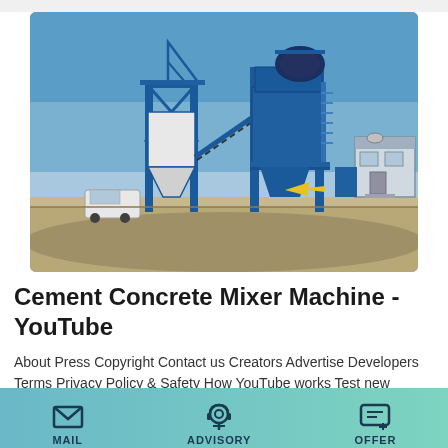[Figure (photo): Large industrial cement/asphalt mixing plant with blue steel frame structures, conveyor belts, silos, a drum mixer unit, and a control room building, photographed outdoors under a clear blue sky on a dirt construction site. A white bus and vehicle are visible on the left.]
Cement Concrete Mixer Machine - YouTube
About Press Copyright Contact us Creators Advertise Developers Terms Privacy Policy & Safety How YouTube works Test new features Press Copyright Contact us Creators
MAIL   ADVISORY   OFFER